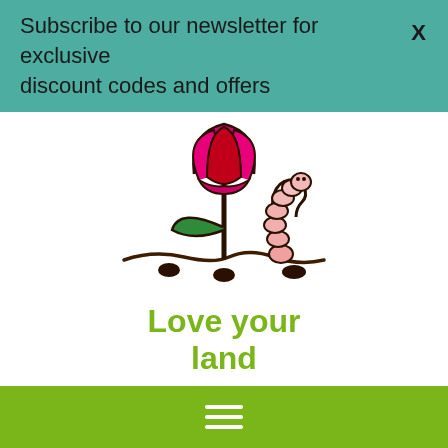Subscribe to our newsletter for exclusive discount codes and offers
[Figure (illustration): Cartoon illustration of a flower with a red and pink tulip bloom, green leaf, brown stem planted in soil with small dirt clumps, and a pink worm next to it]
Love your land
The organic matter in Natural Grower will help keep your soil or compost in
Hamburger menu icon (three horizontal white lines on green background)